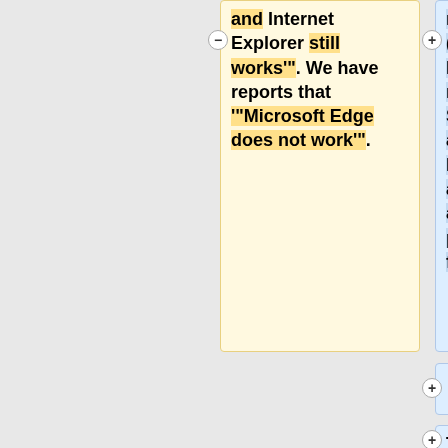and Internet Explorer still works'". We have reports that '"Microsoft Edge does not work"'.
removed it in 2019 (from version 69). Microsoft Edge has not supported it. Safari still supports it as of today, and Internet Explorer has another mechanism available that provides the same feature.
Thus, to request a certificate inside the browser,